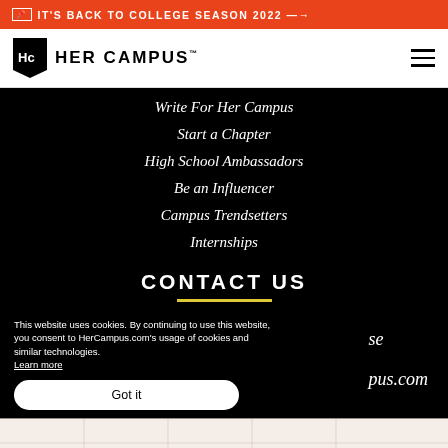IT'S BACK TO COLLEGE SEASON 2022 →
HER CAMPUS
Write For Her Campus
Start a Chapter
High School Ambassadors
Be an Influencer
Campus Trendsetters
Internships
CONTACT US
This website uses cookies. By continuing to use this website, you consent to HerCampus.com's usage of cookies and similar technologies. Learn more
Got it
se
pus.com